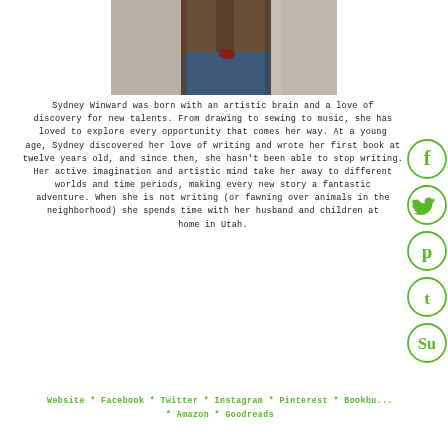[Figure (photo): Partial photo of a person wearing a brown jacket and jeans, cropped at the torso]
Sydney Winward was born with an artistic brain and a love of discovery for new talents. From drawing to sewing to music, she has loved to explore every opportunity that comes her way. At a young age, Sydney discovered her love of writing and wrote her first book at twelve years old, and since then, she hasn't been able to stop writing. Her active imagination and artistic mind take her away to different worlds and time periods, making every new story a fantastic adventure. When she is not writing (or fawning over animals in the neighborhood) she spends time with her husband and children at home in Utah.
Website * Facebook * Twitter * Instagram * Pinterest * Bookbu... * Amazon * Goodreads